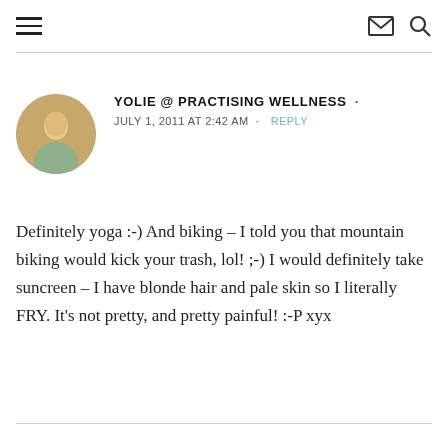Navigation header with hamburger menu, mail icon, and search icon
YOLIE @ PRACTISING WELLNESS
JULY 1, 2011 AT 2:42 AM  •  REPLY
Definitely yoga :-) And biking – I told you that mountain biking would kick your trash, lol! ;-) I would definitely take suncreen – I have blonde hair and pale skin so I literally FRY. It's not pretty, and pretty painful! :-P xyx